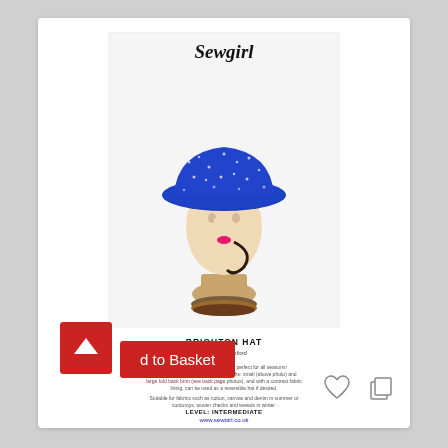[Figure (illustration): Sewgirl brand pattern cover showing a mannequin head wearing a blue Brighton bucket hat with small white floral print. Text on cover includes: 'Sewgirl', 'BRIGHTON HAT', 'by Fiona Hesford', description of the hat pattern, fabric suggestions, 'LEVEL: INTERMEDIATE', and 'www.sewgirl.co.uk']
Sewgirl Pattern: Brighton Hat
d to Basket